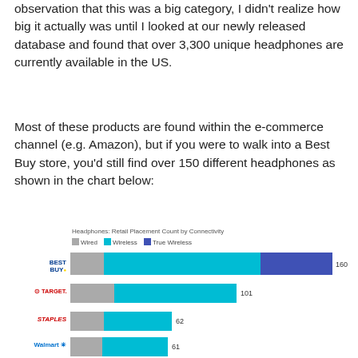observation that this was a big category, I didn't realize how big it actually was until I looked at our newly released database and found that over 3,300 unique headphones are currently available in the US.
Most of these products are found within the e-commerce channel (e.g. Amazon), but if you were to walk into a Best Buy store, you'd still find over 150 different headphones as shown in the chart below:
[Figure (stacked-bar-chart): Headphones: Retail Placement Count by Connectivity]